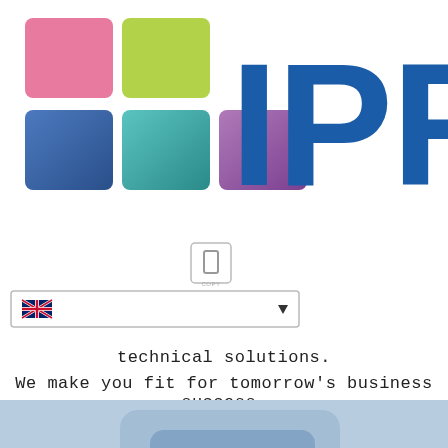[Figure (logo): IPRO logo with colorful grid of squares (pink, green, teal, purple, blue gradient) and bold blue IPRO text]
[Figure (screenshot): Small icon button with rectangle icon and 'COPY' label below]
[Figure (screenshot): Dropdown selector with UK flag icon on left and triangle arrow on right]
technical solutions.
We make you fit for tomorrow's business success.
[Figure (logo): winIPRO product banner with blue/steel colored nested rounded rectangles and white winIPRO text]